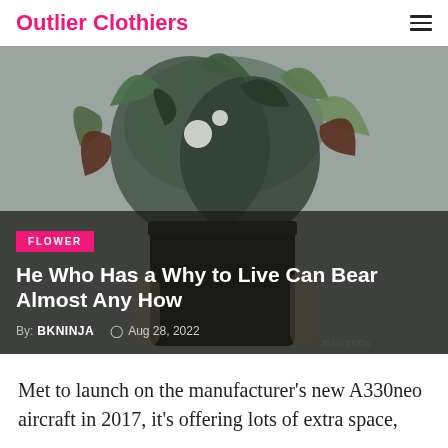Outlier Clothiers
[Figure (photo): Person holding a large bouquet of mixed flowers and foliage including dark tropical leaves, white blooms, and green eucalyptus against a grey background]
FLOWER
He Who Has a Why to Live Can Bear Almost Any How
By: BKNINJA  Aug 28, 2022
Met to launch on the manufacturer's new A330neo aircraft in 2017, it's offering lots of extra space,